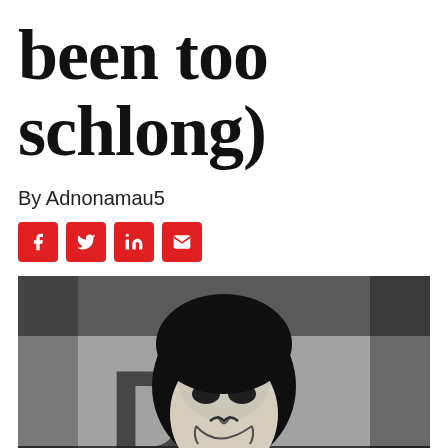been too schlong)
By Adnonamau5
[Figure (other): Social media share buttons: Facebook (f), Twitter (bird), LinkedIn (in), Email (envelope) — all red square icons with white symbols]
[Figure (photo): Black and white photo of a person wearing a Guy Fawkes / Anonymous mask and black beanie hat, with graffiti letter D visible on the wall behind them]